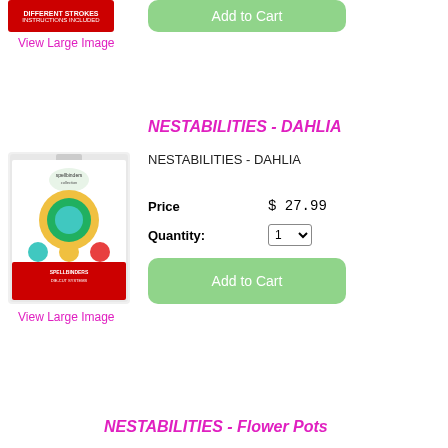[Figure (photo): Red product package shown partially at top]
Add to Cart
View Large Image
NESTABILITIES - DAHLIA
[Figure (photo): NESTABILITIES - DAHLIA product package showing dahlia flower die cuts]
NESTABILITIES - DAHLIA
Price   $ 27.99
Quantity:   1
Add to Cart
View Large Image
NESTABILITIES - Flower Pots